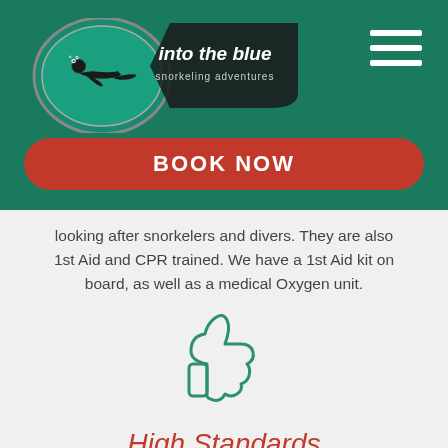[Figure (logo): Into the Blue Snorkeling Adventures logo with diver silhouette in teal circle]
[Figure (other): Hamburger menu icon (three white horizontal lines)]
BOOK NOW
looking after snorkelers and divers. They are also 1st Aid and CPR trained. We have a 1st Aid kit on board, as well as a medical Oxygen unit.
[Figure (illustration): Thumbs up icon outline in teal/green color]
High Standards
We recently won awards from both TripAdvisor (2016 Certificate of Excellence Award) and PADI, rated as an 5 star IDC Center Certificate of